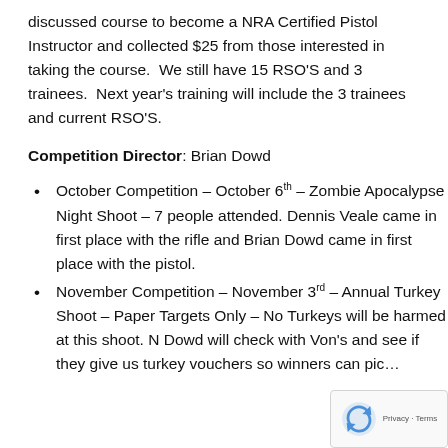discussed course to become a NRA Certified Pistol Instructor and collected $25 from those interested in taking the course.  We still have 15 RSO'S and 3 trainees.  Next year's training will include the 3 trainees and current RSO'S.
Competition Director: Brian Dowd
October Competition – October 6th – Zombie Apocalypse Night Shoot – 7 people attended. Dennis Veale came in first place with the rifle and Brian Dowd came in first place with the pistol.
November Competition – November 3rd – Annual Turkey Shoot – Paper Targets Only – No Turkeys will be harmed at this shoot. N Dowd will check with Von's and see if they give us turkey vouchers so winners can pick...